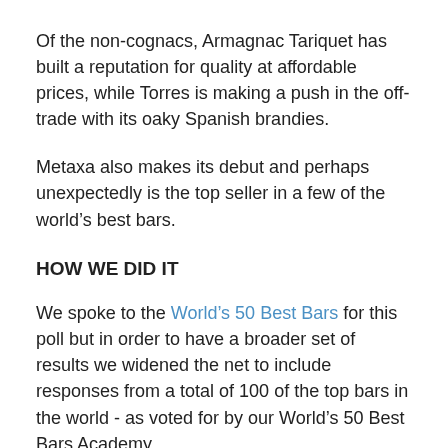Of the non-cognacs, Armagnac Tariquet has built a reputation for quality at affordable prices, while Torres is making a push in the off-trade with its oaky Spanish brandies.
Metaxa also makes its debut and perhaps unexpectedly is the top seller in a few of the world’s best bars.
HOW WE DID IT
We spoke to the World’s 50 Best Bars for this poll but in order to have a broader set of results we widened the net to include responses from a total of 100 of the top bars in the world - as voted for by our World’s 50 Best Bars Academy.
We asked bar owners and head bartenders from these 100 top bars to name the Best Selling and Top Trending brands behind their bars. For more information about our methodology...